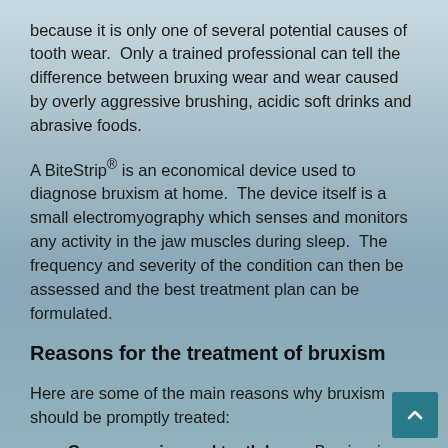because it is only one of several potential causes of tooth wear. Only a trained professional can tell the difference between bruxing wear and wear caused by overly aggressive brushing, acidic soft drinks and abrasive foods.
A BiteStrip® is an economical device used to diagnose bruxism at home. The device itself is a small electromyography which senses and monitors any activity in the jaw muscles during sleep. The frequency and severity of the condition can then be assessed and the best treatment plan can be formulated.
Reasons for the treatment of bruxism
Here are some of the main reasons why bruxism should be promptly treated:
Gum recession and tooth loss – Bruxism is one of the leading causes of gum recession and tooth loss; firstly because it damages the soft tissue directly, and secondly because it leads to loose teeth and deep pockets where bacteria can colonize and destroy the supporting b…
Occlusal trauma – The abnormal wear patterns a…